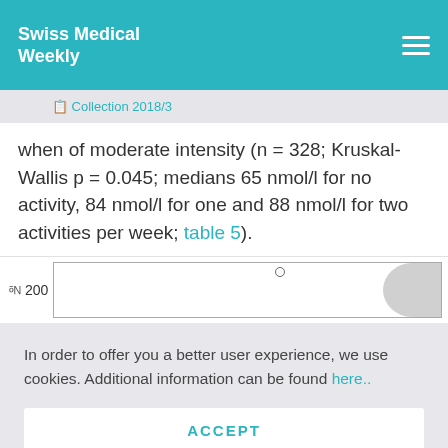Swiss Medical Weekly
📋 Collection 2018/3
when of moderate intensity (n = 328; Kruskal-Wallis p = 0.045; medians 65 nmol/l for no activity, 84 nmol/l for one and 88 nmol/l for two activities per week; table 5).
[Figure (continuous-plot): Partial view of a chart showing a y-axis label rotated vertically, y-value '200', a boxed chart area with a small circle/dot marker near the top and a curved gray shape on the right side.]
In order to offer you a better user experience, we use cookies. Additional information can be found here..
ACCEPT